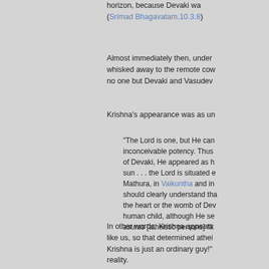horizon, because Devaki was... (Srimad Bhagavatam,10.3.8)
Almost immediately then, under... whisked away to the remote cow... no one but Devaki and Vasudev...
Krishna's appearance was as un...
"The Lord is one, but He can... inconceivable potency. Thus... of Devaki, He appeared as h... sun . . . the Lord is situated e... Mathura, in Vaikuntha and in... should clearly understand tha... the heart or the womb of Dev... human child, although He se... asuras [atheistic persons] lik...
In other words, Krishna appears... like us, so that determined athei... Krishna is just an ordinary guy!"... reality.